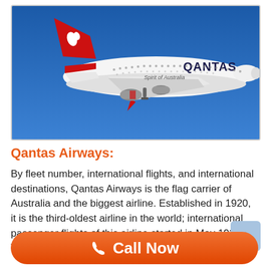[Figure (photo): A Qantas Airways Airbus A380 aircraft in flight against a blue sky. The aircraft is white with the red Qantas livery and kangaroo logo on the tail. Text on fuselage reads 'Spirit of Australia' and 'QANTAS'.]
Qantas Airways:
By fleet number, international flights, and international destinations, Qantas Airways is the flag carrier of Australia and the biggest airline. Established in 1920, it is the third-oldest airline in the world; international passenger flights of this airline started in May 1935. The Qantas name.